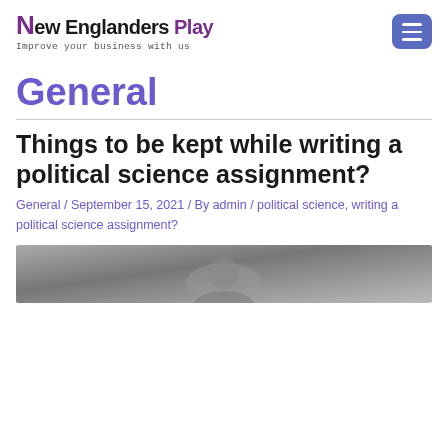[Figure (logo): New Englanders Play logo with purple N, black text and tagline 'Improve your business with us']
General
Things to be kept while writing a political science assignment?
General / September 15, 2021 / By admin / political science, writing a political science assignment?
[Figure (photo): Partial photo at bottom of page, dark grayscale image]